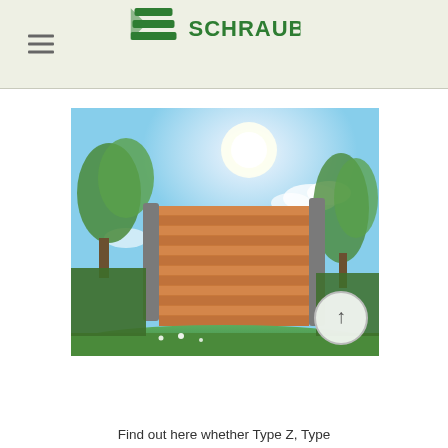SCHRAUBFREI
[Figure (photo): Outdoor photo of a wooden WPC fence panel standing in a sunny garden with green trees and grass in the background, bright sun in the sky]
Find out here whether Type Z, Type